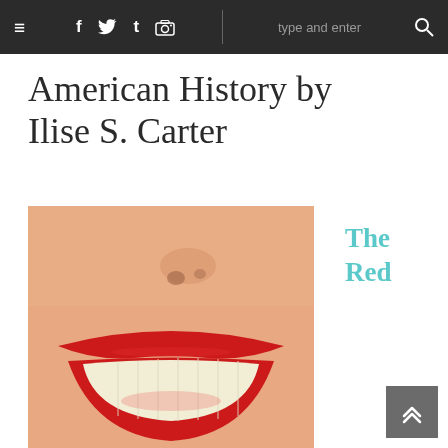≡  f  t  t  [camera]  |  type and enter  🔍
American History by Ilise S. Carter
[Figure (photo): Close-up book cover showing a woman's smiling face with bright red lipstick. Text on the cover reads 'THE RED' in large bold letters (THE in black, RED in red).]
The Red